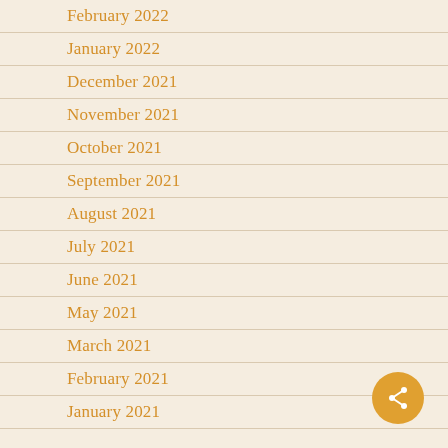February 2022
January 2022
December 2021
November 2021
October 2021
September 2021
August 2021
July 2021
June 2021
May 2021
March 2021
February 2021
January 2021